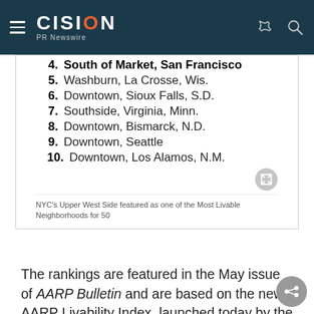CISION PR Newswire
4. South of Market, San Francisco
5. Washburn, La Crosse, Wis.
6. Downtown, Sioux Falls, S.D.
7. Southside, Virginia, Minn.
8. Downtown, Bismarck, N.D.
9. Downtown, Seattle
10. Downtown, Los Alamos, N.M.
NYC's Upper West Side featured as one of the Most Livable Neighborhoods for 50
The rankings are featured in the May issue of AARP Bulletin and are based on the new AARP Livability Index, launched today by the AARP Public Policy Institute. The index is a first of its kind resource that allows people to determine how well their